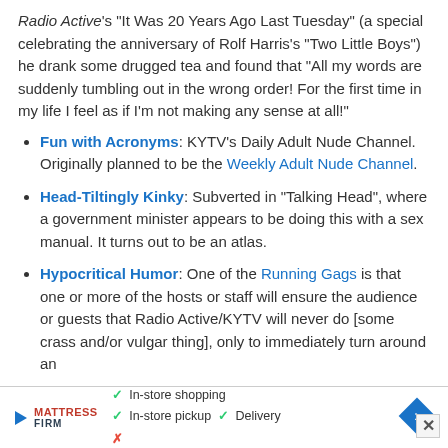Radio Active's "It Was 20 Years Ago Last Tuesday" (a special celebrating the anniversary of Rolf Harris's "Two Little Boys") he drank some drugged tea and found that "All my words are suddenly tumbling out in the wrong order! For the first time in my life I feel as if I'm not making any sense at all!"
Fun with Acronyms: KYTV's Daily Adult Nude Channel. Originally planned to be the Weekly Adult Nude Channel.
Head-Tiltingly Kinky: Subverted in "Talking Head", where a government minister appears to be doing this with a sex manual. It turns out to be an atlas.
Hypocritical Humor: One of the Running Gags is that one or more of the hosts or staff will ensure the audience or guests that Radio Active/KYTV will never do [some crass and/or vulgar thing], only to immediately turn around an
[Figure (infographic): Mattress Firm advertisement banner with play button logo, checkmarks for In-store shopping, In-store pickup, Delivery, and a blue diamond navigation icon. Close button (x) in bottom right.]